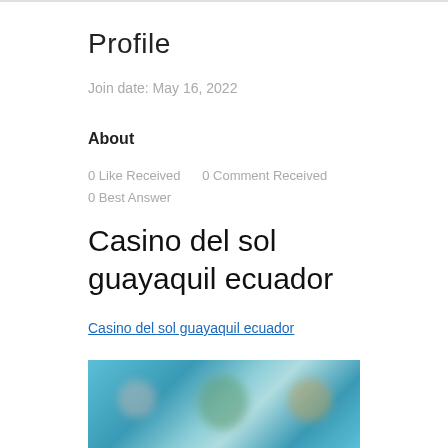Profile
Join date: May 16, 2022
About
0 Like Received    0 Comment Received
0 Best Answer
Casino del sol guayaquil ecuador
Casino del sol guayaquil ecuador
[Figure (photo): Blurred image with colorful background showing indistinct figures]